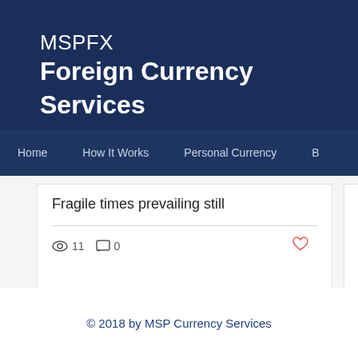MSPFX Foreign Currency Services
Home | How It Works | Personal Currency
Fragile times prevailing still
11 views · 0 comments · heart
Markets w... data
16 views
© 2018 by MSP Currency Services